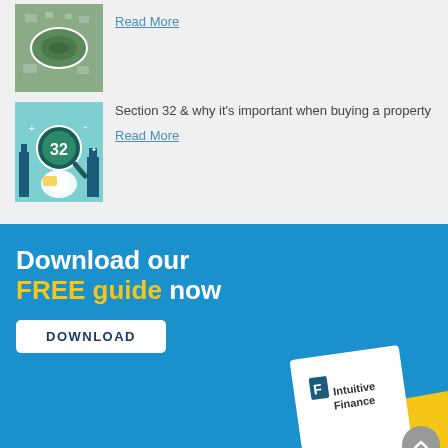[Figure (photo): Aerial view of a stadium surrounded by city buildings — thumbnail image]
Read More
[Figure (illustration): Illustration of a magnifying glass with number 32, city buildings in background — Section 32 article thumbnail]
Section 32 & why it's important when buying a property
Read More
[Figure (infographic): Blue promotional banner: Download our FREE guide now, with a DOWNLOAD button and an Intuitive Finance brochure image in the lower right corner]